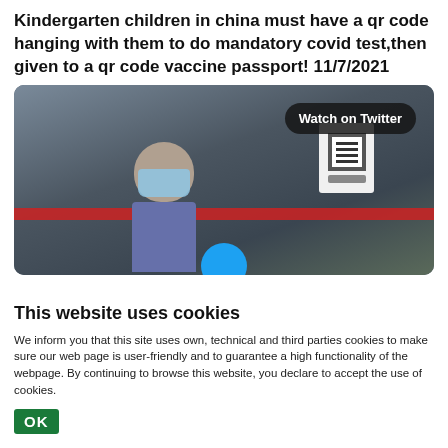Kindergarten children in china must have a qr code hanging with them to do mandatory covid test,then given to a qr code vaccine passport! 11/7/2021
[Figure (photo): Children wearing face masks standing in a line outdoors, some holding white QR code cards. A 'Watch on Twitter' badge appears in the upper right. A blue circle overlay appears at the bottom center of the image.]
This website uses cookies
We inform you that this site uses own, technical and third parties cookies to make sure our web page is user-friendly and to guarantee a high functionality of the webpage. By continuing to browse this website, you declare to accept the use of cookies.
OK